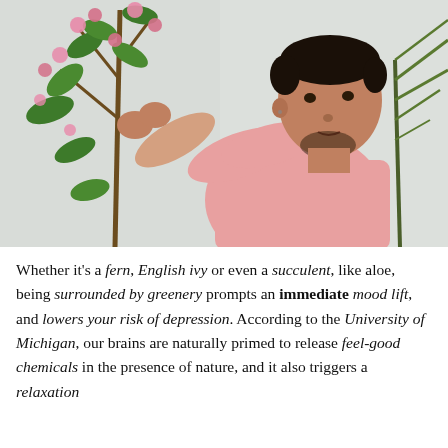[Figure (photo): A man in a pink shirt tending to a flowering plant with pink blossoms and green leaves, reaching toward it with both hands. A green palm-like plant is visible in the background on the right. The background is a light grey/white wall.]
Whether it's a fern, English ivy or even a succulent, like aloe, being surrounded by greenery prompts an immediate mood lift, and lowers your risk of depression. According to the University of Michigan, our brains are naturally primed to release feel-good chemicals in the presence of nature, and it also triggers a relaxation